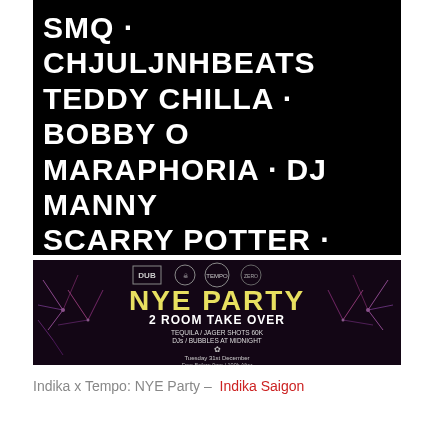[Figure (illustration): Black background event flyer listing DJ/artist names in large white bold text: SMQ · CHJULJNHBEATS, TEDDY CHILLA · BOBBY O, MARAPHORIA · DJ MANNY, SCARRY POTTER · PTUFF, JAKE RYAN · CHIEU PHAM, FATCONNECTIONS · MANNY, VYNNIBAL · ATTISS NGO, with small repeating venue/date text at bottom.]
[Figure (illustration): Dark NYE Party flyer with fireworks background. Text reads: NYE PARTY, 2 ROOM TAKE OVER, TEQUILA / JAGER SHOTS 60K, DJs / BUBBLES AT MIDNIGHT, Tuesday 31st December, Free Before 9pm / 100k After. Logos for DUB, Indika, TEMPO, and another venue shown at top.]
Indika x Tempo: NYE Party – Indika Saigon